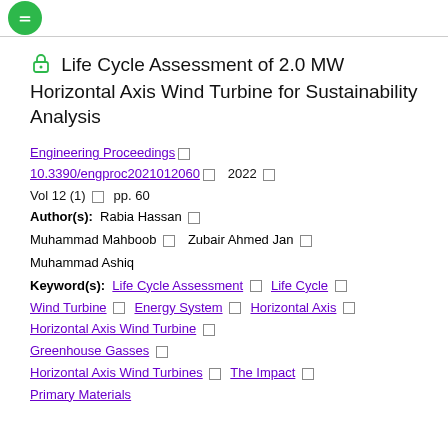[navigation bar with green icon]
Life Cycle Assessment of 2.0 MW Horizontal Axis Wind Turbine for Sustainability Analysis
Engineering Proceedings □ 10.3390/engproc2021012060 □ 2022 □ Vol 12 (1) □ pp. 60
Author(s): Rabia Hassan □ Muhammad Mahboob □ Zubair Ahmed Jan □ Muhammad Ashiq
Keyword(s): Life Cycle Assessment □ Life Cycle □ Wind Turbine □ Energy System □ Horizontal Axis □ Horizontal Axis Wind Turbine □ Greenhouse Gasses □ Horizontal Axis Wind Turbines □ The Impact □ Primary Materials